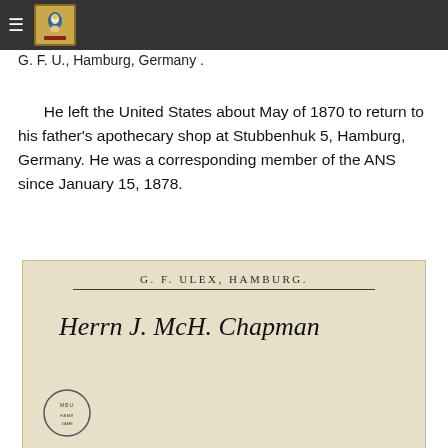≡ [logo]
G. F. U., Hamburg, Germany .
He left the United States about May of 1870 to return to his father's apothecary shop at Stubbenhuk 5, Hamburg, Germany. He was a corresponding member of the ANS since January 15, 1878.
[Figure (photo): Image of an old envelope with printed letterhead reading 'G. F. ULEX, HAMBURG.' in small caps, a horizontal rule beneath it, cursive handwritten address reading 'Herrn J. McLl. Chapman', and a partial Hamburg postmark circle at the bottom left.]